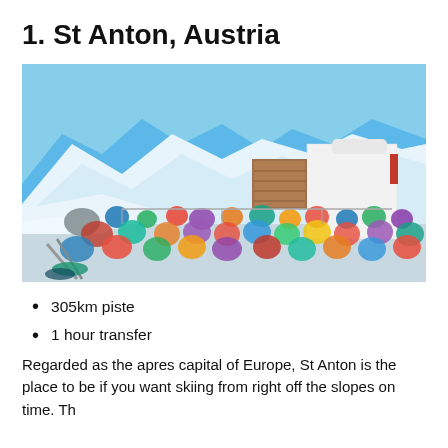1. St Anton, Austria
[Figure (photo): Outdoor terrace at a ski resort in St Anton, Austria. A large crowd of skiers and snowboarders in colorful gear are relaxing on sun loungers and chairs on a snowy terrace. In the background, snow-covered Alpine mountains and a modern white building with a wooden chalet-style extension are visible under a bright blue sky.]
305km piste
1 hour transfer
Regarded as the apres capital of Europe, St Anton is the place to be if you want skiing from right off the slopes on time. Th...